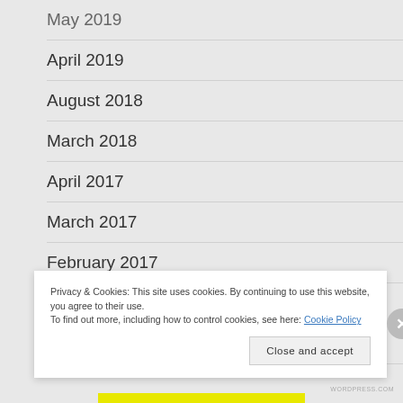May 2019
April 2019
August 2018
March 2018
April 2017
March 2017
February 2017
January 2017
December 2016
Privacy & Cookies: This site uses cookies. By continuing to use this website, you agree to their use.
To find out more, including how to control cookies, see here: Cookie Policy
Close and accept